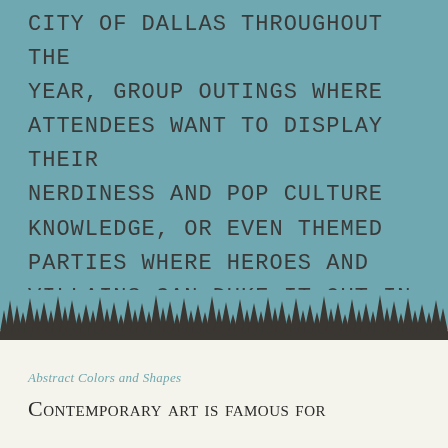CITY OF DALLAS THROUGHOUT THE YEAR, GROUP OUTINGS WHERE ATTENDEES WANT TO DISPLAY THEIR NERDINESS AND POP CULTURE KNOWLEDGE, OR EVEN THEMED PARTIES WHERE HEROES AND VILLAINS CAN DUKE IT OUT IN COMPETITIVE EVENTS OR FUN GAMES.
[Figure (illustration): Silhouette of a dense pine tree forest treeline in dark brown/charcoal against the teal background, forming a jagged natural border between the teal upper section and the cream lower section.]
Abstract Colors and Shapes
Contemporary art is famous for